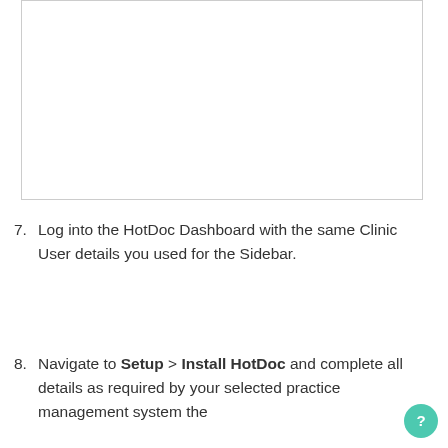[Figure (screenshot): White rectangle with border, representing a screenshot placeholder]
7. Log into the HotDoc Dashboard with the same Clinic User details you used for the Sidebar.
8. Navigate to Setup > Install HotDoc and complete all details as required by your selected practice management system the